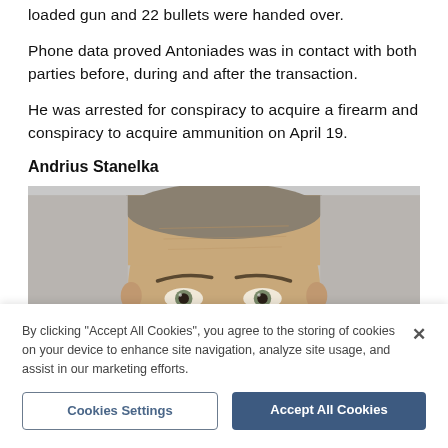loaded gun and 22 bullets were handed over.
Phone data proved Antoniades was in contact with both parties before, during and after the transaction.
He was arrested for conspiracy to acquire a firearm and conspiracy to acquire ammunition on April 19.
Andrius Stanelka
[Figure (photo): Mugshot-style photo of Andrius Stanelka, a middle-aged man with short hair, showing his face from the eyebrows up.]
By clicking "Accept All Cookies", you agree to the storing of cookies on your device to enhance site navigation, analyze site usage, and assist in our marketing efforts.